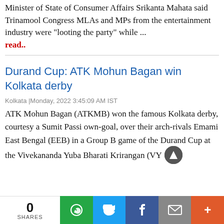Minister of State of Consumer Affairs Srikanta Mahata said Trinamool Congress MLAs and MPs from the entertainment industry were "looting the party" while ...
read..
Durand Cup: ATK Mohun Bagan win Kolkata derby
Kolkata |Monday, 2022 3:45:09 AM IST
ATK Mohun Bagan (ATKMB) won the famous Kolkata derby, courtesy a Sumit Passi own-goal, over their arch-rivals Emami East Bengal (EEB) in a Group B game of the Durand Cup at the Vivekananda Yuba Bharati Krirangan (VY...